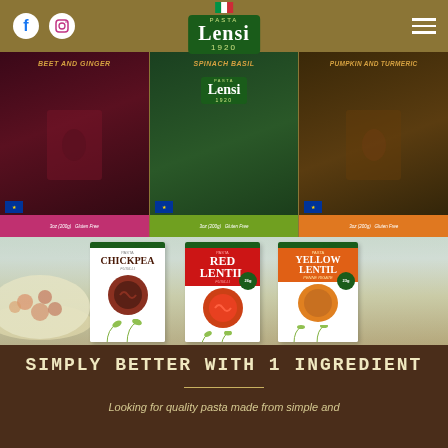[Figure (screenshot): Navigation bar with Facebook and Instagram social icons on left, Pasta Lensi 1920 logo in center, hamburger menu on right, all on gold/olive background]
[Figure (photo): Three product package thumbnails side by side: Beet and Ginger (dark red/maroon), Spinach Basil (dark green center with logo), Pumpkin and Turmeric (dark brown). Each has a colored label strip at bottom.]
[Figure (photo): Hero lifestyle photo showing three Pasta Lensi product boxes (Chickpea, Red Lentil, Yellow Lentil) on a wooden surface in a kitchen setting, with a bowl of pasta salad on the left.]
SIMPLY BETTER WITH 1 INGREDIENT
Looking for quality pasta made from simple and